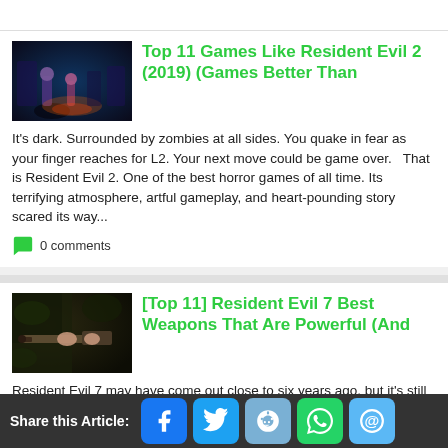[Figure (photo): Dark blue/purple toned screenshot from Resident Evil 2 showing zombie apocalypse scene]
Top 11 Games Like Resident Evil 2 (2019) (Games Better Than
It's dark. Surrounded by zombies at all sides. You quake in fear as your finger reaches for L2. Your next move could be game over.   That is Resident Evil 2. One of the best horror games of all time. Its terrifying atmosphere, artful gameplay, and heart-pounding story scared its way...
0 comments
[Figure (photo): Dark green/brown toned screenshot from Resident Evil 7 showing someone holding a weapon]
[Top 11] Resident Evil 7 Best Weapons That Are Powerful (And
Resident Evil 7 may have come out close to six years ago, but it's still a game that is near and dear to our hearts. However, first time players may be a bit lost on where to get the good items, and what exactly those are. There's many weapons that are easy to miss and, spoiler alert, one of the
Share this Article: